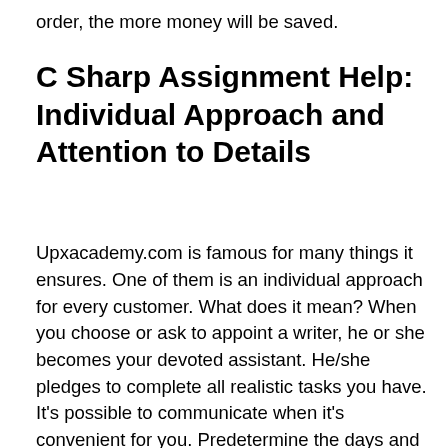order, the more money will be saved.
C Sharp Assignment Help: Individual Approach and Attention to Details
Upxacademy.com is famous for many things it ensures. One of them is an individual approach for every customer. What does it mean? When you choose or ask to appoint a writer, he or she becomes your devoted assistant. He/she pledges to complete all realistic tasks you have.
It's possible to communicate when it's convenient for you. Predetermine the days and hours when you